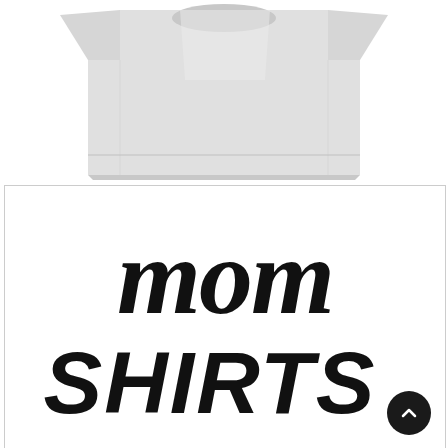[Figure (photo): A light grey heather blank t-shirt folded, shown from above, cropped at the top of the image]
[Figure (illustration): White square with large bold brush-script text reading 'mom SHIRTS' in black, with a dark circular scroll-to-top button in the bottom right corner]